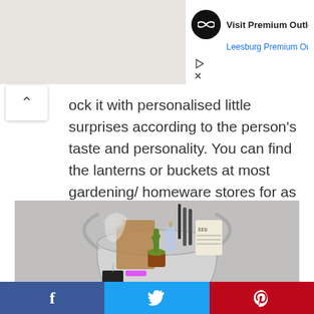[Figure (screenshot): Top ad bar partially visible: black circle logo with infinity symbol, 'Visit Premium Outle' and 'Leesburg Premium Ou' in blue, with play and close icons below]
ock it with personalised little surprises according to the person's taste and personality. You can find the lanterns or buckets at most gardening/ homeware stores for as little as 5 bucks.
[Figure (photo): A silver metal bucket filled with personalised gift items: brown paper wrapping, a small cactus plant, glitter bottle, makeup brushes, newspaper, and other small items, photographed on a light grey background.]
[Figure (screenshot): Bottom social sharing bar with Facebook (blue), Twitter (cyan), and Pinterest (red) icons]